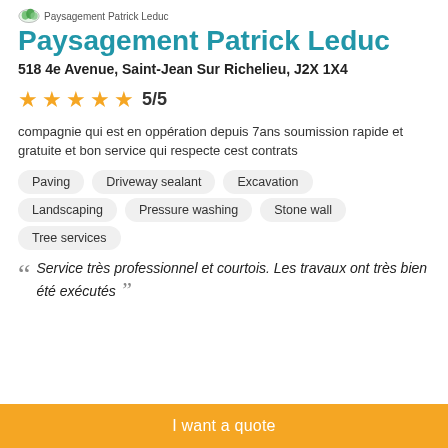Paysagement Patrick Leduc
Paysagement Patrick Leduc
518 4e Avenue, Saint-Jean Sur Richelieu, J2X 1X4
[Figure (infographic): 5 gold stars rating with text 5/5]
compagnie qui est en oppération depuis 7ans soumission rapide et gratuite et bon service qui respecte cest contrats
Paving
Driveway sealant
Excavation
Landscaping
Pressure washing
Stone wall
Tree services
Service très professionnel et courtois. Les travaux ont très bien été exécutés
I want a quote